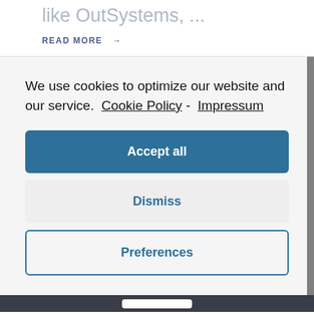like OutSystems, ...
READ MORE →
We use cookies to optimize our website and our service. Cookie Policy - Impressum
Accept all
Dismiss
Preferences